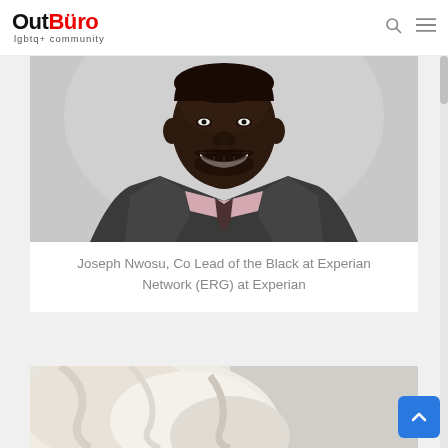OutBüro lgbtq+ community
[Figure (photo): Portrait photo of a smiling Black man in a dark suit with a light pink shirt and dark tie, against a light gray background]
Joseph Nwosu, Co Lead of the Black at Experian Network (ERG) at Experian
[Figure (photo): Partial photo at bottom of page, showing a person in white/cream colored clothing, cropped]